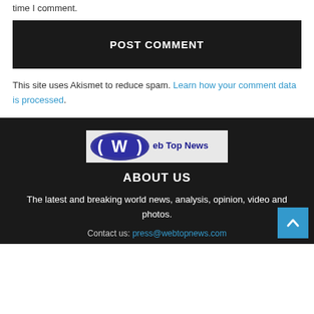time I comment.
POST COMMENT
This site uses Akismet to reduce spam. Learn how your comment data is processed.
[Figure (logo): Web Top News logo with blue oval W and text 'Web Top News']
ABOUT US
The latest and breaking world news, analysis, opinion, video and photos.
Contact us: press@webtopnews.com